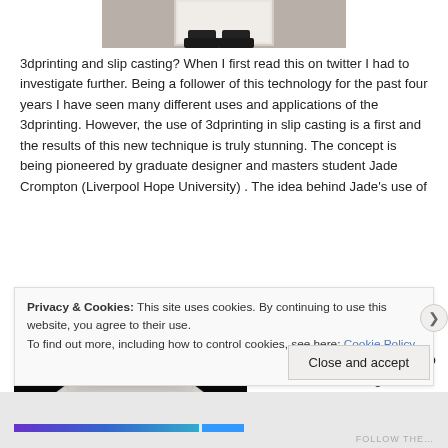[Figure (photo): Top portion of a photo showing a person's feet/shoes near a door or doorway, cropped at top of page]
3dprinting and slip casting? When I first read this on twitter I had to investigate further. Being a follower of this technology for the past four years I have seen many different uses and applications of the 3dprinting. However, the use of 3dprinting in slip casting is a first and the results of this new technique is truly stunning. The concept is being pioneered by graduate designer and masters student Jade Crompton (Liverpool Hope University) . The idea behind Jade's use of
[Figure (photo): Black background photo showing a white geometric/faceted ceramic bowl or dish with angular diamond-pattern surface texture, photographed against dark background]
3dprinting is to design and
Privacy & Cookies: This site uses cookies. By continuing to use this website, you agree to their use.
To find out more, including how to control cookies, see here: Cookie Policy
Close and accept